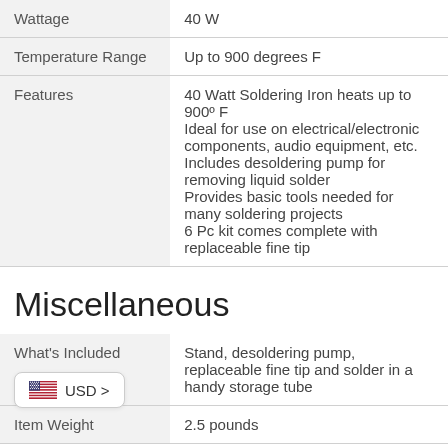|  |  |
| --- | --- |
| Wattage | 40 W |
| Temperature Range | Up to 900 degrees F |
| Features | 40 Watt Soldering Iron heats up to 900º F
Ideal for use on electrical/electronic components, audio equipment, etc.
Includes desoldering pump for removing liquid solder
Provides basic tools needed for many soldering projects
6 Pc kit comes complete with replaceable fine tip |
Miscellaneous
|  |  |
| --- | --- |
| What's Included | Stand, desoldering pump, replaceable fine tip and solder in a handy storage tube |
| Item Weight | 2.5 pounds |